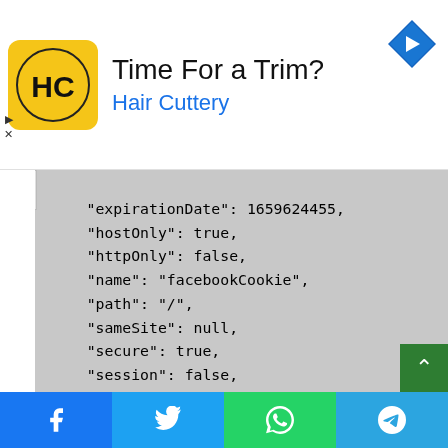[Figure (screenshot): Ad banner for Hair Cuttery with logo, title 'Time For a Trim?', subtitle 'Hair Cuttery', and navigation icon]
"expirationDate": 1659624455,
"hostOnly": true,
"httpOnly": false,
"name": "facebookCookie",
"path": "/",
"sameSite": null,
"secure": true,
"session": false,
"storeId": null,
"value": "{\"deviceId\":\"633dc936-a1a0-442d-87b7-52a1e73ac0a0\",\"fbId\":\"\",\"emailId\":\"\",\"isProfileRequired\":false,\"token\":\"\",\"dateOfBirth\":\"\",\"age\":\"\",\"gender\":\"\"}"
[Figure (screenshot): Social share bar with Facebook, Twitter, WhatsApp, and Telegram buttons]